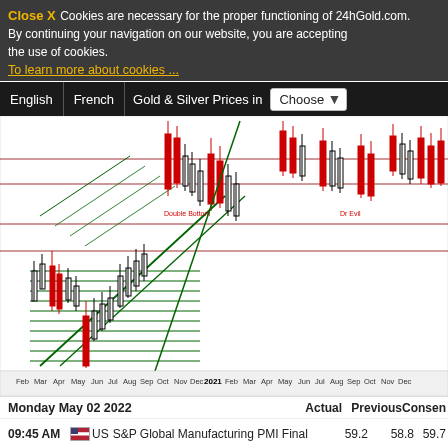Close X  Cookies are necessary for the proper functioning of 24hGold.com. By continuing your navigation on our website, you are accepting the use of cookies.
To learn more about cookies ...
English  French  Gold & Silver Prices in  Choose
[Figure (continuous-plot): Candlestick chart showing financial price data with green diagonal trend lines, horizontal support/resistance levels in dark red and green, red and black candlesticks, with x-axis labels: Feb Mar Apr May Jun Jul Aug Sep Oct Nov Dec 2021 Feb Mar Apr May Jun Jul Aug Sep Oct Nov Dec. Chart annotations include 'Double Bottom' and 'Dr Evil'. Chart covers approximately 2020-2021 timeframe.]
Monday May 02 2022    Actual   Previous   Consen
09:45 AM  US  S&P Global Manufacturing PMI Final   59.2   58.8   59.7